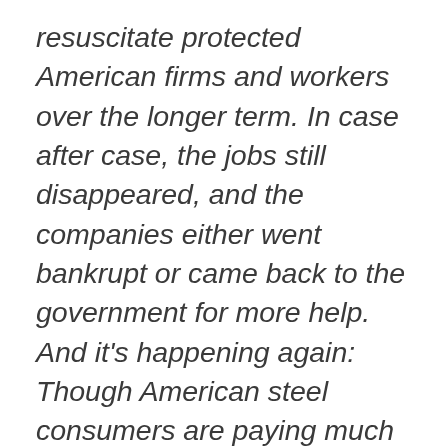resuscitate protected American firms and workers over the longer term. In case after case, the jobs still disappeared, and the companies either went bankrupt or came back to the government for more help. And it's happening again: Though American steel consumers are paying much higher prices than their global competitors, U.S. steel-industry stocks lag far behind the S&P 500 index. For these and related reasons, economists of the Left, Right,